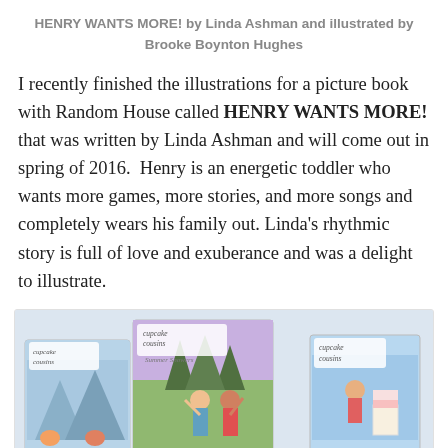HENRY WANTS MORE! by Linda Ashman and illustrated by Brooke Boynton Hughes
I recently finished the illustrations for a picture book with Random House called HENRY WANTS MORE! that was written by Linda Ashman and will come out in spring of 2016.  Henry is an energetic toddler who wants more games, more stories, and more songs and completely wears his family out.  Linda's rhythmic story is full of love and exuberance and was a delight to illustrate.
[Figure (photo): Photo of three Cupcake Cousins book covers arranged overlapping: left cover shows 'cupcake cousins', center shows 'cupcake cousins Summer Showers' with two girls in a garden, right shows 'cupcake cousins' with a girl and a layered cake.]